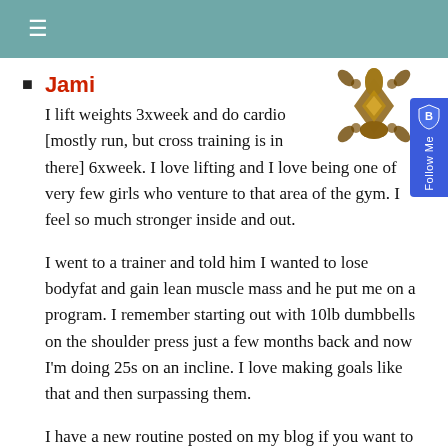≡
Jami
I lift weights 3xweek and do cardio [mostly run, but cross training is in there] 6xweek. I love lifting and I love being one of very few girls who venture to that area of the gym. I feel so much stronger inside and out.

I went to a trainer and told him I wanted to lose bodyfat and gain lean muscle mass and he put me on a program. I remember starting out with 10lb dumbbells on the shoulder press just a few months back and now I'm doing 25s on an incline. I love making goals like that and then surpassing them.

I have a new routine posted on my blog if you want to check it out with some more...